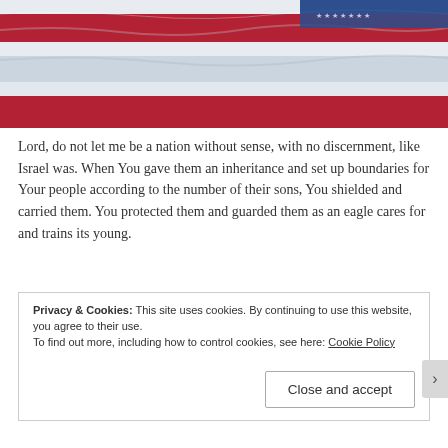[Figure (photo): Close-up photo of the American flag showing red, white, and blue stripes with wavy fabric texture.]
Lord, do not let me be a nation without sense, with no discernment, like Israel was. When You gave them an inheritance and set up boundaries for Your people according to the number of their sons, You shielded and carried them. You protected them and guarded them as an eagle cares for and trains its young.
Privacy & Cookies: This site uses cookies. By continuing to use this website, you agree to their use.
To find out more, including how to control cookies, see here: Cookie Policy
Close and accept